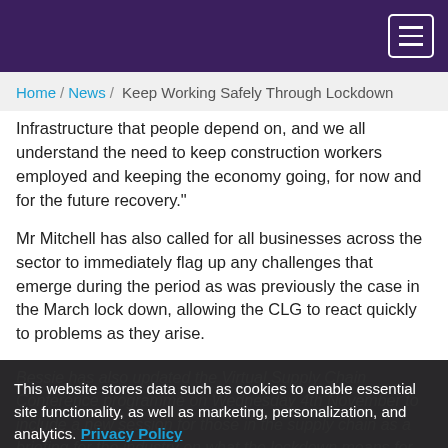Header navigation bar with menu button
Home / News / Keep Working Safely Through Lockdown
Infrastructure that people depend on, and we all understand the need to keep construction workers employed and keeping the economy going, for now and for the future recovery."
Mr Mitchell has also called for all businesses across the sector to immediately flag up any challenges that emerge during the period as was previously the case in the March lock down, allowing the CLC to react quickly to problems as they arise.
Bessie has also updated the Virtual Supply Chain Conference programme on Wednesday 4th November to include a new session for those in the supply chain as a briefing for the industry on what the lockdown means for them and their firms.
This website stores data such as cookies to enable essential site functionality, as well as marketing, personalization, and analytics. Privacy Policy
Accept
Deny